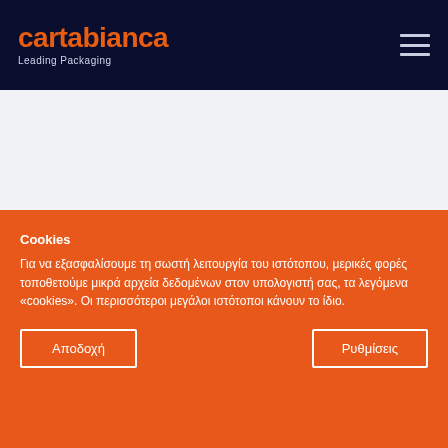cartabianca Leading Packaging
[Figure (logo): Cartabianca logo with orange text and dark navy background, hamburger menu icon top right]
Cookies
Για να εξασφαλίσουμε τη σωστή λειτουργία του ιστότοπου, μερικές φορές τοποθετούμε μικρά αρχεία δεδομένων στον υπολογιστή σας, τα λεγόμενα «cookies». Οι περισσότεροι μεγάλοι ιστότοποι κάνουν το ίδιο.
Αποδοχή
Ρυθμίσεις